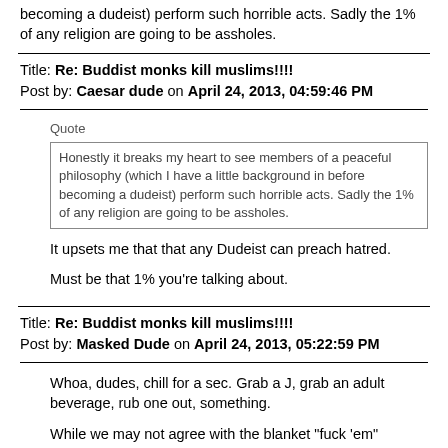becoming a dudeist) perform such horrible acts. Sadly the 1% of any religion are going to be assholes.
Title: Re: Buddist monks kill muslims!!!!
Post by: Caesar dude on April 24, 2013, 04:59:46 PM
Quote
Honestly it breaks my heart to see members of a peaceful philosophy (which I have a little background in before becoming a dudeist) perform such horrible acts. Sadly the 1% of any religion are going to be assholes.
It upsets me that that any Dudeist can preach hatred.
Must be that 1% you're talking about.
Title: Re: Buddist monks kill muslims!!!!
Post by: Masked Dude on April 24, 2013, 05:22:59 PM
Whoa, dudes, chill for a sec. Grab a J, grab an adult beverage, rub one out, something.
While we may not agree with the blanket "fuck 'em" statement, we shouldn't pounce all over anyone. Why not calmly ask why he said it and not just assume anything about his character?
Title: Re: Buddist monks kill muslims!!!!
Post by: Caesar dude on April 24, 2013, 06:44:21 PM